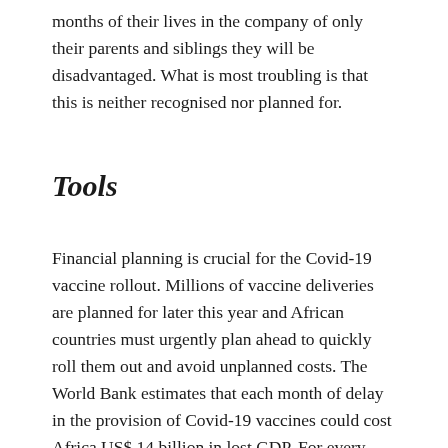months of their lives in the company of only their parents and siblings they will be disadvantaged. What is most troubling is that this is neither recognised nor planned for.
Tools
Financial planning is crucial for the Covid-19 vaccine rollout. Millions of vaccine deliveries are planned for later this year and African countries must urgently plan ahead to quickly roll them out and avoid unplanned costs. The World Bank estimates that each month of delay in the provision of Covid-19 vaccines could cost Africa US$ 14 billion in lost GDP. For every dollar spent on buying vaccines, around 60% is needed for supporting operations. The Covid-19 Vaccine Introduction